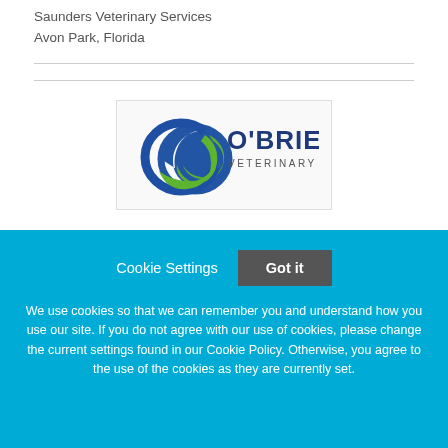Saunders Veterinary Services
Avon Park, Florida
[Figure (logo): O'Brien Veterinary Group logo with blue and green circular swoosh icon and dark blue text]
Associate Veterinarian Wanted In Charming Town of Ottawa, IL
Cookie Settings  Got it
We use cookies so that we can remember you and understand how you use our site. If you do not agree with our use of cookies, please change the current settings found in our Cookie Policy. Otherwise, you agree to the use of the cookies as they are currently set.